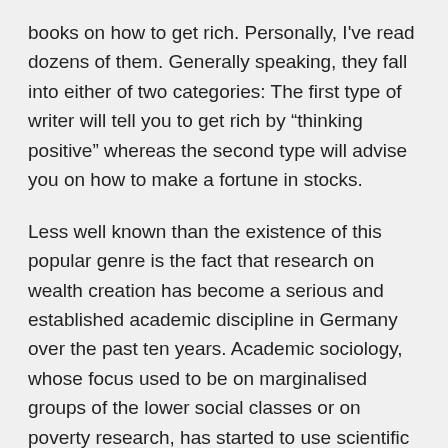books on how to get rich. Personally, I've read dozens of them. Generally speaking, they fall into either of two categories: The first type of writer will tell you to get rich by “thinking positive” whereas the second type will advise you on how to make a fortune in stocks.
Less well known than the existence of this popular genre is the fact that research on wealth creation has become a serious and established academic discipline in Germany over the past ten years. Academic sociology, whose focus used to be on marginalised groups of the lower social classes or on poverty research, has started to use scientific method to study ways to wealth and the underlying reasons.